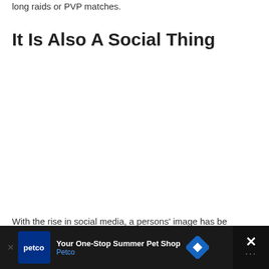long raids or PVP matches.
It Is Also A Social Thing
[Figure (other): Large blank white image area below the section header, likely a photo or embedded image placeholder.]
With the rise in social media, a persons' image has be...
Your One-Stop Summer Pet Shop — Petco (advertisement banner)